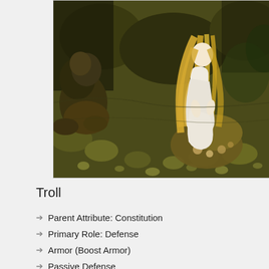[Figure (illustration): Illustration of a pale woman with long golden hair sitting on rocks in a dark, olive-toned cave or rocky landscape. A troll-like figure is partially visible on the left. Rocks and pebbles cover the ground.]
Troll
Parent Attribute: Constitution
Primary Role: Defense
Armor (Boost Armor)
Passive Defense
Secondary Role: Offense (Full Role)
Devastating (Boost Devastation, (Total Devastation or Dwarf Stopper
Secondary Role: Support: Strength
Additional Support: Constitution